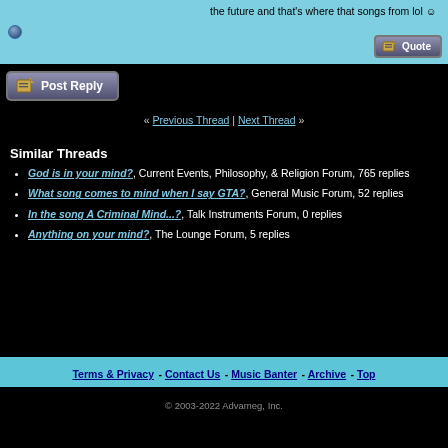the future and that's where that songs from lol 🙂
[Figure (screenshot): Quote button with pencil/paper icon]
[Figure (screenshot): Post Reply button with pencil/paper icon]
« Previous Thread | Next Thread »
Similar Threads
God is in your mind?, Current Events, Philosophy, & Religion Forum, 765 replies
What song comes to mind when I say GTA?, General Music Forum, 52 replies
In the song A Criminal Mind...?, Talk Instruments Forum, 0 replies
Anything on your mind?, The Lounge Forum, 5 replies
Terms & Privacy - Contact Us - Music Banter - Archive - Top
© 2003-2022 Advameg, Inc.